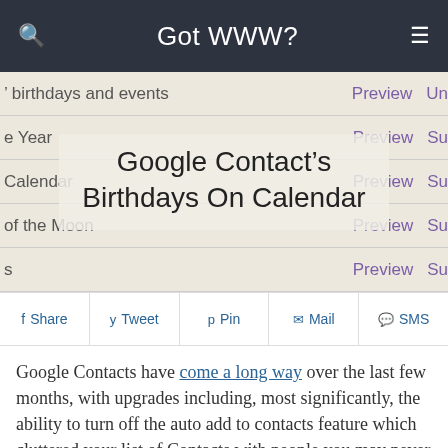Got WWW?
birthdays and events  Preview  Un
e Year  Preview  Su
Calendar  Preview  Su
of the Moon  Preview  Su
s  Preview  Su
Google Contact's Birthdays On Calendar
Share  Tweet  Pin  Mail  SMS
Google Contacts have come a long way over the last few months, with upgrades including, most significantly, the ability to turn off the auto add to contacts feature which cluttered your list of Contacts with people you may never correspond with again. Another feature conducive to